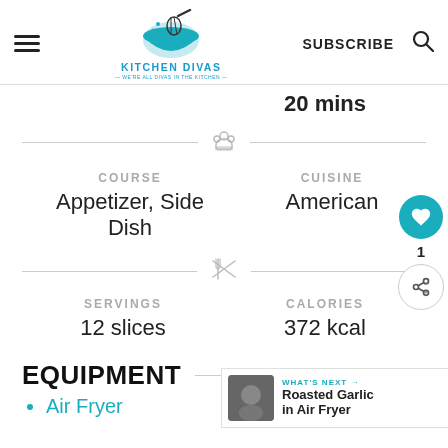Kitchen Divas — WE'RE ALL DIVAS IN THE KITCHEN — SUBSCRIBE
20 mins
COURSE
Appetizer, Side Dish
CUISINE
American
SERVINGS
12 slices
CALORIES
372 kcal
EQUIPMENT
Air Fryer